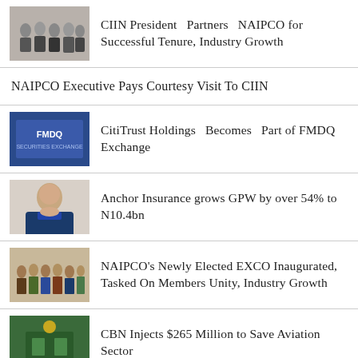[Figure (photo): Group of people photo thumbnail for CIIN President Partners NAIPCO article]
CIIN President  Partners  NAIPCO for Successful Tenure, Industry Growth
NAIPCO Executive Pays Courtesy Visit To CIIN
[Figure (photo): FMDQ logo/signage photo thumbnail for CitiTrust Holdings article]
CitiTrust Holdings  Becomes  Part of FMDQ Exchange
[Figure (photo): Portrait of person in suit for Anchor Insurance article]
Anchor Insurance grows GPW by over 54% to N10.4bn
[Figure (photo): Group photo thumbnail for NAIPCO EXCO article]
NAIPCO's Newly Elected EXCO Inaugurated, Tasked On Members Unity, Industry Growth
[Figure (photo): CBN building/logo photo thumbnail for CBN Injects article]
CBN Injects $265 Million to Save Aviation Sector
[Figure (photo): Group of dignitaries photo thumbnail for Nigeria Insures AGM article]
Dignitaries At Nigeria Insures Association AGM In Lagos